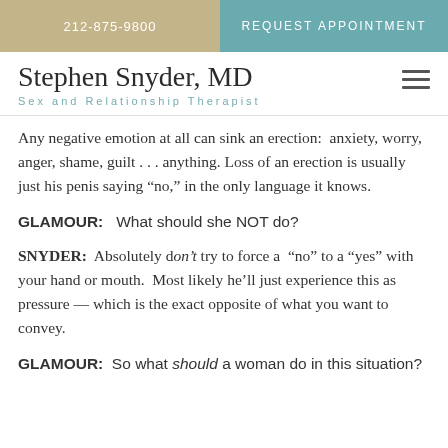212-875-9800  |  REQUEST APPOINTMENT
Stephen Snyder, MD
Sex and Relationship Therapist
Any negative emotion at all can sink an erection:  anxiety, worry, anger, shame, guilt . . . anything. Loss of an erection is usually just his penis saying “no,” in the only language it knows.
GLAMOUR:   What should she NOT do?
SNYDER:  Absolutely don’t try to force a  “no” to a “yes” with your hand or mouth.  Most likely he’ll just experience this as pressure — which is the exact opposite of what you want to convey.
GLAMOUR:  So what should a woman do in this situation?